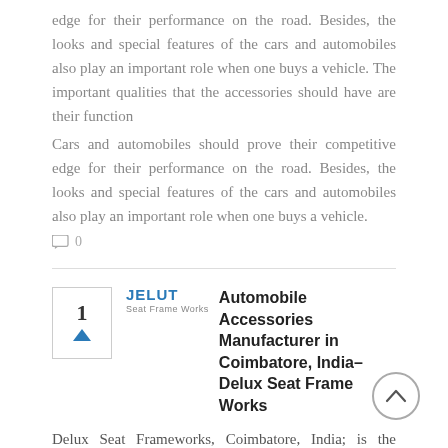edge for their performance on the road. Besides, the looks and special features of the cars and automobiles also play an important role when one buys a vehicle. The important qualities that the accessories should have are their function
Cars and automobiles should prove their competitive edge for their performance on the road. Besides, the looks and special features of the cars and automobiles also play an important role when one buys a vehicle.
💬 0
Automobile Accessories Manufacturer in Coimbatore, India– Delux Seat Frame Works
Delux Seat Frameworks, Coimbatore, India; is the leading Manufacturers and Supplier of FootSteps Accessories. We are offering a wide range of Car & Auto Accessories.